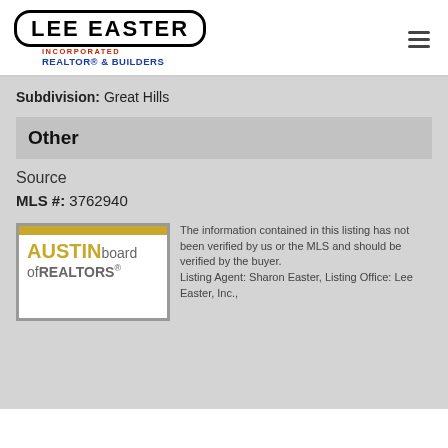[Figure (logo): Lee Easter Incorporated Realtor & Builders logo in black rounded rectangle]
Subdivision: Great Hills
Other
Source
MLS #: 3762940
[Figure (logo): Austin Board of Realtors logo with gold top bar and gold AUSTIN text]
The information contained in this listing has not been verified by us or the MLS and should be verified by the buyer.
Listing Agent: Sharon Easter, Listing Office: Lee Easter, Inc.,